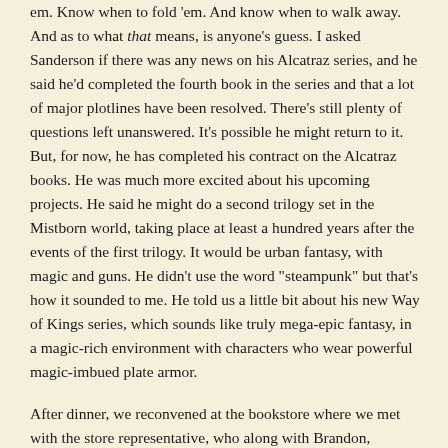em. Know when to fold 'em. And know when to walk away. And as to what that means, is anyone's guess. I asked Sanderson if there was any news on his Alcatraz series, and he said he'd completed the fourth book in the series and that a lot of major plotlines have been resolved. There's still plenty of questions left unanswered. It's possible he might return to it. But, for now, he has completed his contract on the Alcatraz books. He was much more excited about his upcoming projects. He said he might do a second trilogy set in the Mistborn world, taking place at least a hundred years after the events of the first trilogy. It would be urban fantasy, with magic and guns. He didn't use the word "steampunk" but that's how it sounded to me. He told us a little bit about his new Way of Kings series, which sounds like truly mega-epic fantasy, in a magic-rich environment with characters who wear powerful magic-imbued plate armor.
After dinner, we reconvened at the bookstore where we met with the store representative, who along with Brandon, outlined what everyone's roles would be for the evening. The store seemed a little underprepared -- they clearly weren't expecting the crowd of over 150 fans who gathered, and they sold out of nearly everything. Then again, Brandon wasn't number one on the New York Times bestseller list when he first booked the signing, either! Our store liaison explained that the store closed at 9 pm, and when Brandon told her that he'd never completed a signing before 10:30, she looked a little crestfallen, but